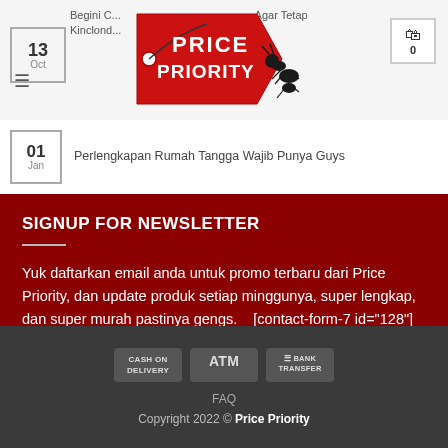Begini C... Agar Tetap Kinclond... | Price Priority logo | cart: 0
Perlengkapan Rumah Tangga Wajib Punya Guys
SIGNUP FOR NEWSLETTER
Yuk daftarkan email anda untuk promo terbaru dari Price Priority, dan update produk setiap minggunya, super lengkap, dan super murah pastinya gengs.    [contact-form-7 id="128"]
CASH ON DELIVERY  ATM  BANK TRANSFER | FAQ | Copyright 2022 © Price Priority